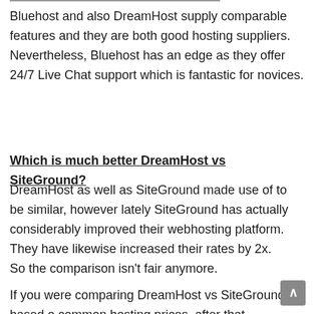Bluehost and also DreamHost supply comparable features and they are both good hosting suppliers. Nevertheless, Bluehost has an edge as they offer 24/7 Live Chat support which is fantastic for novices.
Which is much better DreamHost vs SiteGround?
DreamHost as well as SiteGround made use of to be similar, however lately SiteGround has actually considerably improved their webhosting platform. They have likewise increased their rates by 2x.
So the comparison isn't fair anymore.
If you were comparing DreamHost vs SiteGround based on common hosting prices, after that DreamHost is much better